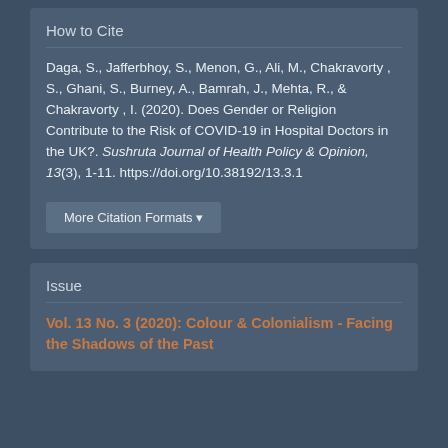How to Cite
Daga, S., Jafferbhoy, S., Menon, G., Ali, M., Chakravorty, S., Ghani, S., Burney, A., Bamrah, J., Mehta, R., & Chakravorty, I. (2020). Does Gender or Religion Contribute to the Risk of COVID-19 in Hospital Doctors in the UK?. Sushruta Journal of Health Policy & Opinion, 13(3), 1-11. https://doi.org/10.38192/13.3.1
More Citation Formats
Issue
Vol. 13 No. 3 (2020): Colour & Colonialism - Facing the Shadows of the Past